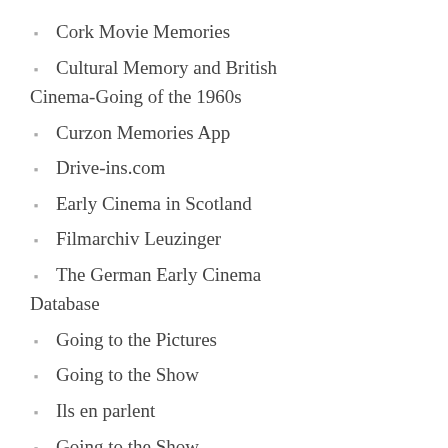Cork Movie Memories
Cultural Memory and British Cinema-Going of the 1960s
Curzon Memories App
Drive-ins.com
Early Cinema in Scotland
Filmarchiv Leuzinger
The German Early Cinema Database
Going to the Pictures
Going to the Show
Ils en parlent
Going to the Show
HOMER Network
Ils en parlent
Irish Audiences Network
Islington's Lost Cinemas